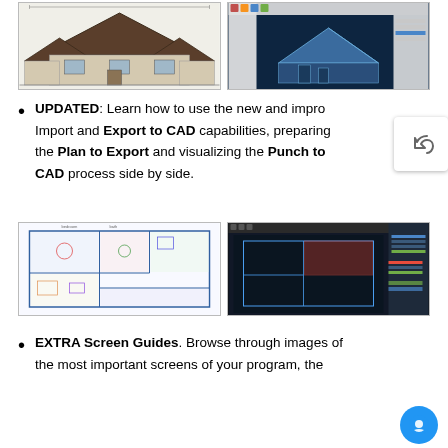[Figure (engineering-diagram): Architectural elevation drawing of a two-story house, black and white line drawing]
[Figure (screenshot): CAD 3D rendered view of the same house showing dark blue background with 3D model and interface panels]
UPDATED: Learn how to use the new and improved Import and Export to CAD capabilities, preparing the Plan to Export and visualizing the Punch to CAD process side by side.
[Figure (engineering-diagram): Architectural floor plan blueprint with colored room layouts and furniture]
[Figure (screenshot): CAD software screenshot showing floor plan with dark interface and highlighted elements]
EXTRA Screen Guides. Browse through images of the most important screens of your program, the